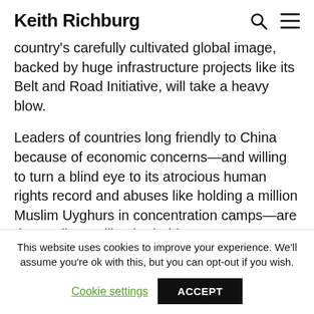Keith Richburg
country's carefully cultivated global image, backed by huge infrastructure projects like its Belt and Road Initiative, will take a heavy blow.
Leaders of countries long friendly to China because of economic concerns—and willing to turn a blind eye to its atrocious human rights record and abuses like holding a million Muslim Uyghurs in concentration camps—are demanding Beijing be held to account.
Australia's foreign minister, Marise Payne, called for
This website uses cookies to improve your experience. We'll assume you're ok with this, but you can opt-out if you wish.
Cookie settings  ACCEPT